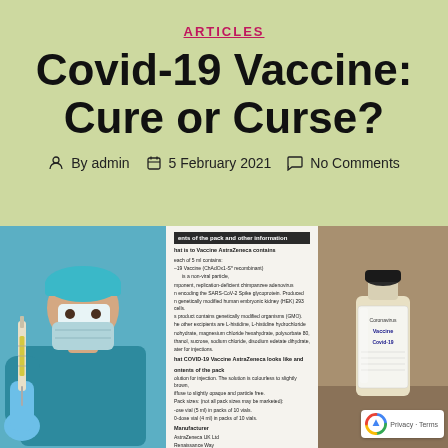ARTICLES
Covid-19 Vaccine: Cure or Curse?
By admin   5 February 2021   No Comments
[Figure (photo): Composite image: left panel shows a doctor/medical professional in scrubs and mask holding a syringe; center panel shows the AstraZeneca vaccine package insert/leaflet text; right panel shows a coronavirus vaccine vial bottle with label reading Coronavirus Covid-19]
Privacy - Terms